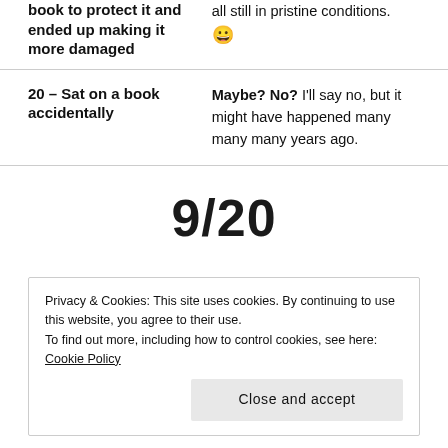book to protect it and ended up making it more damaged
all still in pristine conditions. 😀
20 – Sat on a book accidentally
Maybe? No? I'll say no, but it might have happened many many many years ago.
9/20
Privacy & Cookies: This site uses cookies. By continuing to use this website, you agree to their use. To find out more, including how to control cookies, see here: Cookie Policy Close and accept